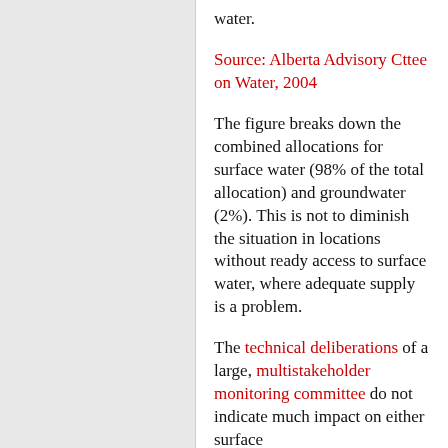water.
Source: Alberta Advisory Cttee on Water, 2004
The figure breaks down the combined allocations for surface water (98% of the total allocation) and groundwater (2%). This is not to diminish the situation in locations without ready access to surface water, where adequate supply is a problem.
The technical deliberations of a large, multistakeholder monitoring committee do not indicate much impact on either surface